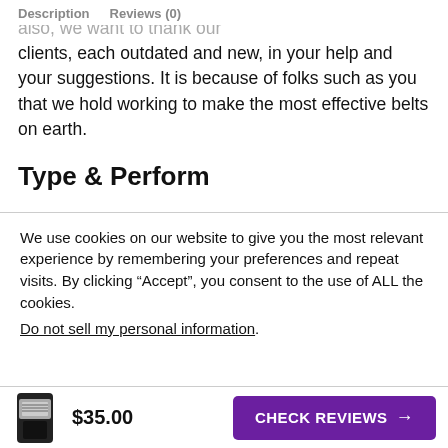Description   Reviews (0)
clients, each outdated and new, in your help and your suggestions. It is because of folks such as you that we hold working to make the most effective belts on earth.
Type & Perform
We use cookies on our website to give you the most relevant experience by remembering your preferences and repeat visits. By clicking “Accept”, you consent to the use of ALL the cookies.
Do not sell my personal information.
$35.00   CHECK REVIEWS →